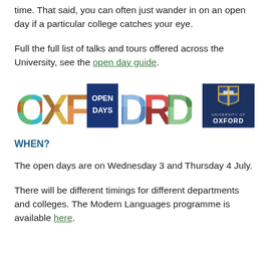time. That said, you can often just wander in on an open day if a particular college catches your eye.
Full the full list of talks and tours offered across the University, see the open day guide.
[Figure (logo): Oxford Open Days banner logo with colorful photo-filled letters spelling OXFORD with OPEN DAYS text overlay, alongside the University of Oxford crest logo on dark blue background]
WHEN?
The open days are on Wednesday 3 and Thursday 4 July.
There will be different timings for different departments and colleges. The Modern Languages programme is available here.